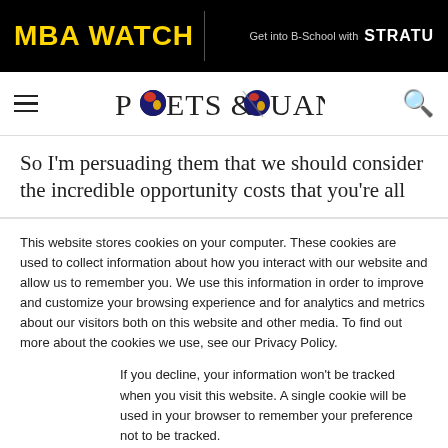MBA WATCH | Get into B-School with STRATU
[Figure (logo): Poets & Quants logo with navigation hamburger menu and search icon]
So I'm persuading them that we should consider the incredible opportunity costs that you're all
This website stores cookies on your computer. These cookies are used to collect information about how you interact with our website and allow us to remember you. We use this information in order to improve and customize your browsing experience and for analytics and metrics about our visitors both on this website and other media. To find out more about the cookies we use, see our Privacy Policy.
If you decline, your information won't be tracked when you visit this website. A single cookie will be used in your browser to remember your preference not to be tracked.